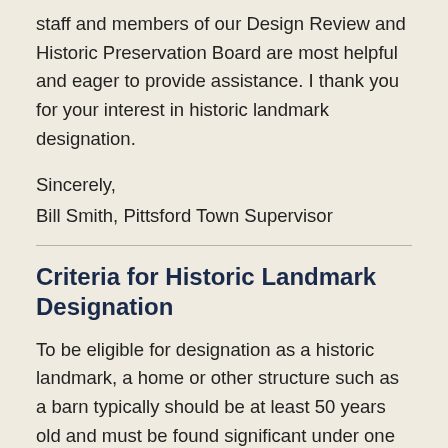staff and members of our Design Review and Historic Preservation Board are most helpful and eager to provide assistance. I thank you for your interest in historic landmark designation.
Sincerely,
Bill Smith, Pittsford Town Supervisor
Criteria for Historic Landmark Designation
To be eligible for designation as a historic landmark, a home or other structure such as a barn typically should be at least 50 years old and must be found significant under one or more of the following Standards of Designation as contained in the Town Preservation Code: